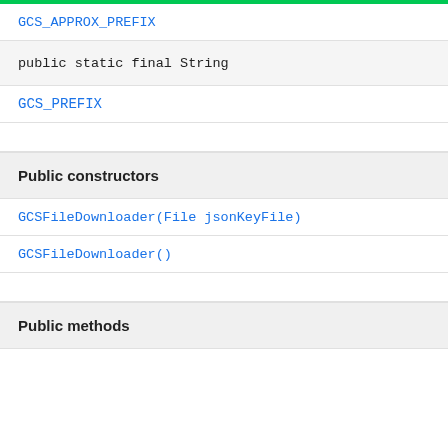GCS_APPROX_PREFIX
public static final String
GCS_PREFIX
Public constructors
GCSFileDownloader(File jsonKeyFile)
GCSFileDownloader()
Public methods